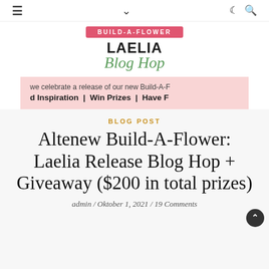≡  ∨  ☾ 🔍
[Figure (illustration): Build-A-Flower Laelia Blog Hop promotional banner with pink badge reading BUILD-A-FLOWER, bold text LAELIA, green script Blog Hop, a pink ribbon banner with partial text about celebrating a new Build-A-Flower release with inspiration, prizes, and fun, and a floral illustration on the right.]
BLOG POST
Altenew Build-A-Flower: Laelia Release Blog Hop + Giveaway ($200 in total prizes)
admin / Oktober 1, 2021 / 19 Comments